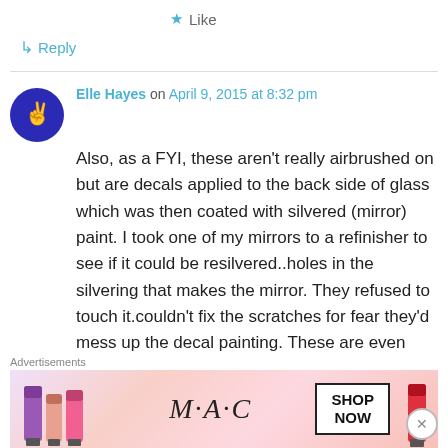★ Like
↳ Reply
Elle Hayes on April 9, 2015 at 8:32 pm
Also, as a FYI, these aren't really airbrushed on but are decals applied to the back side of glass which was then coated with silvered (mirror) paint. I took one of my mirrors to a refinisher to see if it could be resilvered..holes in the silvering that makes the mirror. They refused to touch it.couldn't fix the scratches for fear they'd mess up the decal painting. These are even older than
Advertisements
[Figure (photo): MAC cosmetics advertisement showing lipsticks with SHOP NOW button]